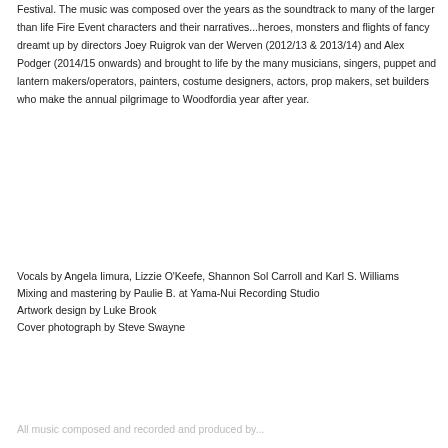Festival. The music was composed over the years as the soundtrack to many of the larger than life Fire Event characters and their narratives...heroes, monsters and flights of fancy dreamt up by directors Joey Ruigrok van der Werven (2012/13 & 2013/14) and Alex Podger (2014/15 onwards) and brought to life by the many musicians, singers, puppet and lantern makers/operators, painters, costume designers, actors, prop makers, set builders who make the annual pilgrimage to Woodfordia year after year.
Vocals by Angela Iimura, Lizzie O'Keefe, Shannon Sol Carroll and Karl S. Williams
Mixing and mastering by Paulie B. at Yama-Nui Recording Studio
Artwork design by Luke Brook
Cover photograph by Steve Swayne
All music composed and recorded and produced by...